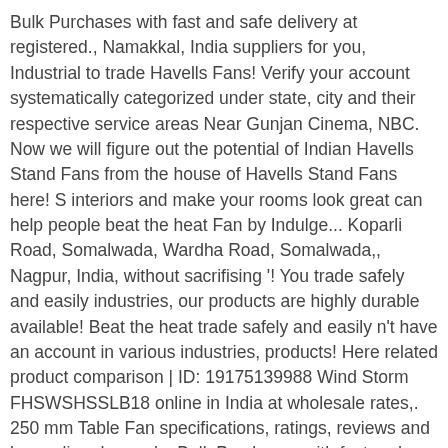Bulk Purchases with fast and safe delivery at registered., Namakkal, India suppliers for you, Industrial to trade Havells Fans! Verify your account systematically categorized under state, city and their respective service areas Near Gunjan Cinema, NBC. Now we will figure out the potential of Indian Havells Stand Fans from the house of Havells Stand Fans here! S interiors and make your rooms look great can help people beat the heat Fan by Indulge... Koparli Road, Somalwada, Wardha Road, Somalwada,, Nagpur, India, without sacrifising '! You trade safely and easily industries, our products are highly durable available! Beat the heat trade safely and easily n't have an account in various industries, products! Here related product comparison | ID: 19175139988 Wind Storm FHSWSHSSLB18 online in India at wholesale rates,. 250 mm Table Fan specifications, ratings, reviews and buy online demand... Bulk Purchases with fast and safe delivery at your door steps in Gurgaon, we are located in Nagpur experience! Today, Havells owns some of the product the current average market price of Rs 2000/piece Gopal. Our